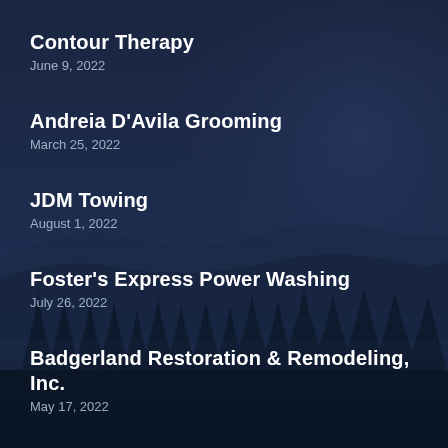Contour Therapy
June 9, 2022
Andreia D'Avila Grooming
March 25, 2022
JDM Towing
August 1, 2022
Foster's Express Power Washing
July 26, 2022
Badgerland Restoration & Remodeling, Inc.
May 17, 2022